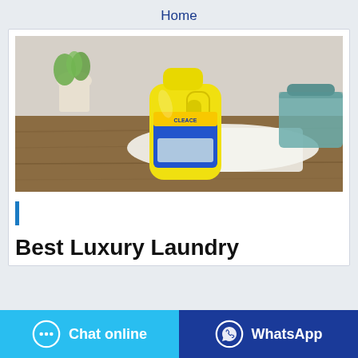Home
[Figure (photo): Yellow laundry detergent bottle (Cleace brand) sitting on a wooden surface with a white cloth spread out and a teal basket in the background, with a plant in the corner]
Best Luxury Laundry
Chat online
WhatsApp